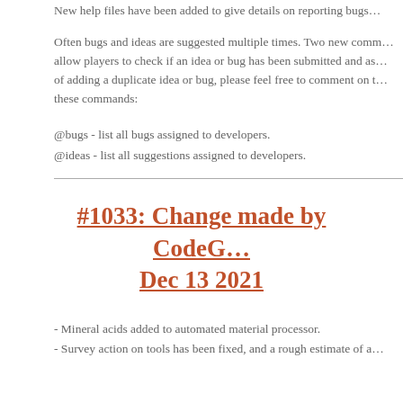New help files have been added to give details on reporting bugs…
Often bugs and ideas are suggested multiple times. Two new comm… allow players to check if an idea or bug has been submitted and as… of adding a duplicate idea or bug, please feel free to comment on t… these commands:
@bugs - list all bugs assigned to developers.
@ideas - list all suggestions assigned to developers.
#1033: Change made by CodeG… Dec 13 2021
- Mineral acids added to automated material processor.
- Survey action on tools has been fixed, and a rough estimate of a…